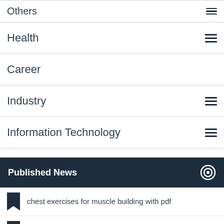Others
Health
Career
Industry
Information Technology
Published News
chest exercises for muscle building with pdf
Compania de Asigurări în Moldova
Value my Bike - We Buy any Motorbike
earn money while playing game